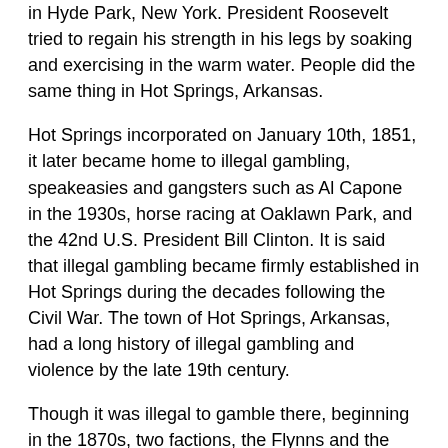in Hyde Park, New York. President Roosevelt tried to regain his strength in his legs by soaking and exercising in the warm water. People did the same thing in Hot Springs, Arkansas.
Hot Springs incorporated on January 10th, 1851, it later became home to illegal gambling, speakeasies and gangsters such as Al Capone in the 1930s, horse racing at Oaklawn Park, and the 42nd U.S. President Bill Clinton. It is said that illegal gambling became firmly established in Hot Springs during the decades following the Civil War. The town of Hot Springs, Arkansas, had a long history of illegal gambling and violence by the late 19th century.
Though it was illegal to gamble there, beginning in the 1870s, two factions, the Flynns and the Dorans, fought one another for control over the illegal gambling inside the city limits. With a population of around 10,000 at the time, it is a little surprising that the two factions were involved in a number of shootouts in and around downtown Hot Springs without raising the ire of the townsfolk to the point of stopping it.